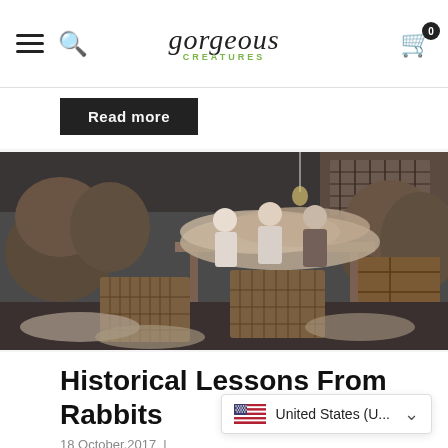gorgeous CREATURES — navigation bar with hamburger menu, search icon, logo, and cart icon (0 items)
Read more
[Figure (photo): Black and white historical photograph of workers sorting rabbit pelts/fur in a large warehouse. Large wicker baskets and sacks of fur are visible, with three workers standing at a central table sorting materials. Sacks and wooden crates line the walls.]
Historical Lessons From Rabbits
18 October,2017 |
United States (U...
Many months from now we will see…